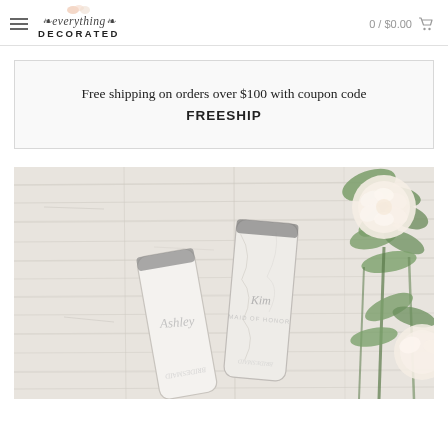everything DECORATED  0 / $0.00
Free shipping on orders over $100 with coupon code FREESHIP
[Figure (photo): Photo of two white marble-finish tumblers with script calligraphy writing, laid on a whitewashed wood surface alongside a bouquet of cream peonies and green eucalyptus leaves]